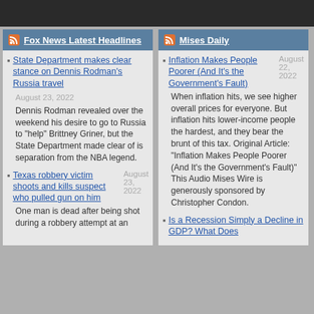Fox News Latest Headlines
State Department makes clear stance on Dennis Rodman's Russia travel August 23, 2022
Dennis Rodman revealed over the weekend his desire to go to Russia to "help" Brittney Griner, but the State Department made clear of is separation from the NBA legend.
Texas robbery victim shoots and kills suspect who pulled gun on him August 23, 2022
One man is dead after being shot during a robbery attempt at an
Mises Daily
Inflation Makes People Poorer (And It's the Government's Fault) August 22, 2022
When inflation hits, we see higher overall prices for everyone. But inflation hits lower-income people the hardest, and they bear the brunt of this tax. Original Article: "Inflation Makes People Poorer (And It's the Government's Fault)" This Audio Mises Wire is generously sponsored by Christopher Condon.
Is a Recession Simply a Decline in GDP? What Does